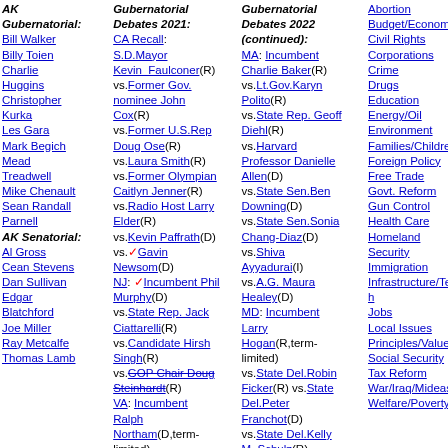AK Gubernatorial: Bill Walker, Billy Toien, Charlie Huggins, Christopher Kurka, Les Gara, Mark Begich, Mead Treadwell, Mike Chenault, Sean Randall Parnell
AK Senatorial: Al Gross, Cean Stevens, Dan Sullivan, Edgar Blatchford, Joe Miller, Ray Metcalfe, Thomas Lamb
Gubernatorial Debates 2021: CA Recall: S.D.Mayor Kevin_Faulconer(R) vs.Former Gov. nominee John Cox(R) vs.Former U.S.Rep Doug Ose(R) vs.Laura Smith(R) vs.Former Olympian Caitlyn Jenner(R) vs.Radio Host Larry Elder(R) vs.Kevin Paffrath(D) vs.Gavin Newsom(D) NJ: Incumbent Phil Murphy(D) vs.State Rep. Jack Ciattarelli(R) vs.Candidate Hirsh Singh(R) vs.GOP Chair Doug Steinhardt(R) VA: Incumbent Ralph Northam(D,term-limited) vs.Former Governor Terry McAuliffe(D)
Gubernatorial Debates 2022 (continued): MA: Incumbent Charlie Baker(R) vs.Lt.Gov.Karyn Polito(R) vs.State Rep. Geoff Diehl(R) vs.Harvard Professor Danielle Allen(D) vs.State Sen.Ben Downing(D) vs.State Sen.Sonia Chang-Diaz(D) vs.Shiva Ayyadurai(I) vs.A.G. Maura Healey(D) MD: Incumbent Larry Hogan(R,term-limited) vs.State Del.Robin Ficker(R) vs.State Del.Peter Franchot(D) vs.State Del.Kelly M. Schulz(R) vs.Secretary John B. King(D)
Abortion, Budget/Economy, Civil Rights, Corporations, Crime, Drugs, Education, Energy/Oil, Environment, Families/Children, Foreign Policy, Free Trade, Govt. Reform, Gun Control, Health Care, Homeland Security, Immigration, Infrastructure/Technology, Jobs, Local Issues, Principles/Values, Social Security, Tax Reform, War/Iraq/Mideast, Welfare/Poverty